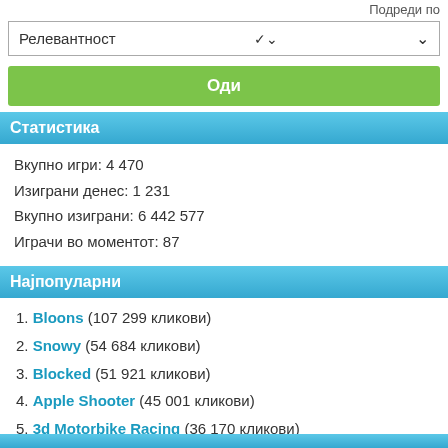Подреди по
Релевантност
Оди
Статистика
Вкупно игри: 4 470
Изиграни денес: 1 231
Вкупно изиграни: 6 442 577
Играчи во моментот: 87
Најпопуларни
1. Bloons (107 299 кликови)
2. Snowy (54 684 кликови)
3. Blocked (51 921 кликови)
4. Apple Shooter (45 001 кликови)
5. 3d Motorbike Racing (36 170 кликови)
6. 12 Swap (34 019 кликови)
7. Tom and Jerry Bowling (32 747 кликови)
8. Autobahn (31 558 кликови)
9. GioKando Ball Fight (26 450 кликови)
10. Choose a Girl (26 244 кликови)